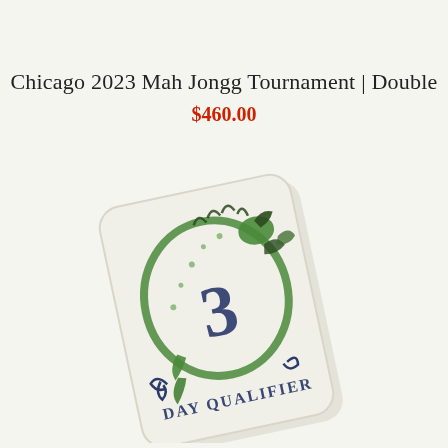Chicago 2023 Mah Jongg Tournament | Double
$460.00
[Figure (photo): A Mah Jongg tile photographed at an angle showing a cream/ivory colored tile with a green dragon curled in a circle around a large blue number '3', with decorative scroll work at the bottom and the text 'DAY QUALIFIER' inscribed on the tile.]